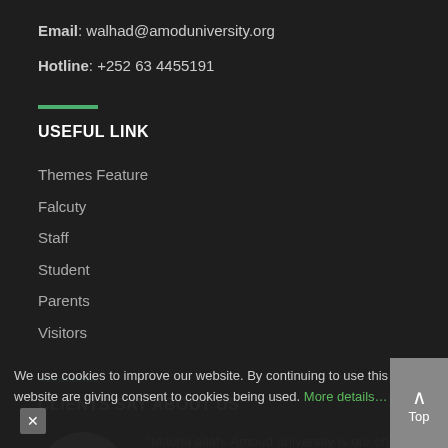Email: walhad@amoduniversity.org
Hotline: +252 63 4455191
USEFUL LINK
Themes Feature
Falcuty
Staff
Student
Parents
Visitors
CLIENTS SAY ABOUT US
[Figure (photo): Circular portrait photo of a man, dark background]
“Macha allah. Amoud university is our character as well as is our identity.”
Mohammed Abdihala Omar- Shaacad
We use cookies to improve our website. By continuing to use this website are giving consent to cookies being used. More details…